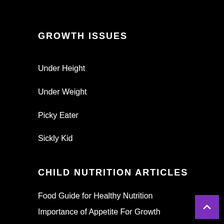GROWTH ISSUES
Under Height
Under Weight
Picky Eater
Sickly Kid
CHILD NUTRITION ARTICLES
Food Guide for Healthy Nutrition
Importance of Appetite For Growth
Is your child a Picky eater? What to do if your child is a picky eater?